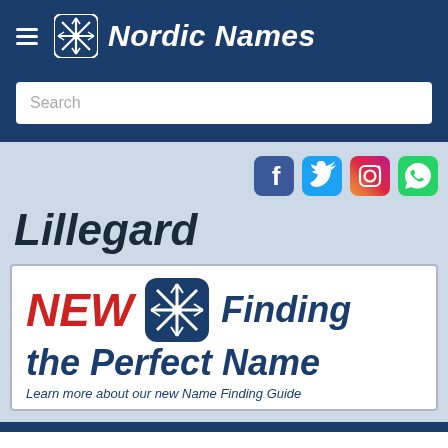Nordic Names
Search
Lillegard
[Figure (infographic): Advertisement banner for Nordic Names 'Finding the Perfect Name' guide. Shows red italic 'NEW', Nordic Names snowflake logo, and blue italic text 'Finding the Perfect Name' with subtitle 'Learn more about our new Name Finding Guide']